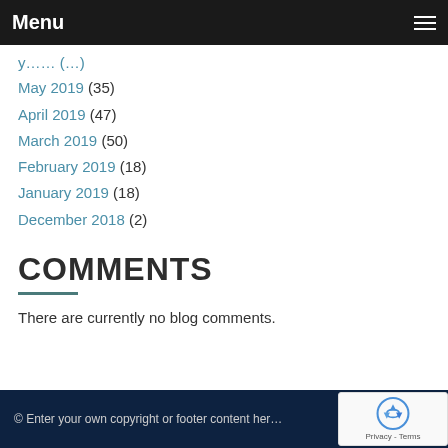Menu
May 2019 (35)
April 2019 (47)
March 2019 (50)
February 2019 (18)
January 2019 (18)
December 2018 (2)
COMMENTS
There are currently no blog comments.
© Enter your own copyright or footer content here